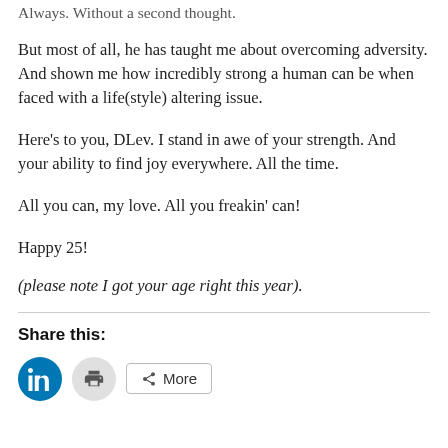Always. Without a second thought.
But most of all, he has taught me about overcoming adversity. And shown me how incredibly strong a human can be when faced with a life(style) altering issue.
Here's to you, DLev. I stand in awe of your strength. And your ability to find joy everywhere. All the time.
All you can, my love. All you freakin' can!
Happy 25!
(please note I got your age right this year).
Share this:
[Figure (infographic): Social share buttons: LinkedIn (blue circle with 'in' icon), Print (gray circle with printer icon), and a More button with share icon]